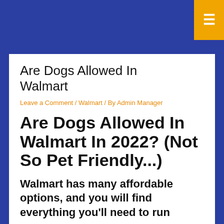Are Dogs Allowed In Walmart
Leave a Comment / Walmart / By Admin Manager
Are Dogs Allowed In Walmart In 2022? (Not So Pet Friendly...)
Walmart has many affordable options, and you will find everything you'll need to run